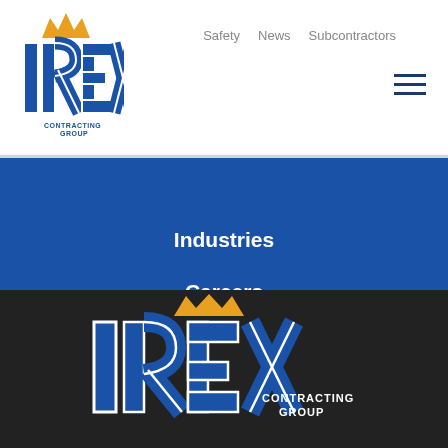[Figure (logo): IREX Contracting Group logo with crown in header — blue I, R, E, X letters with white outline, gold crown on top, small 'CONTRACTING GROUP' text]
Safety   News   Subcontractors
Industries
Careers
Find Services
[Figure (logo): Large IREX Contracting Group logo on dark background — blue I, R, E, X letters with white outline, gold crown on top, 'CONTRACTING GROUP' text below]